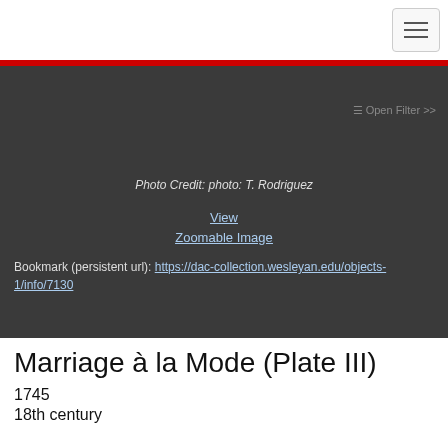☰ Open Filter >>
Photo Credit: photo: T. Rodriguez
View
Zoomable Image
Bookmark (persistent url): https://dac-collection.wesleyan.edu/objects-1/info/7130
Marriage à la Mode (Plate III)
1745
18th century